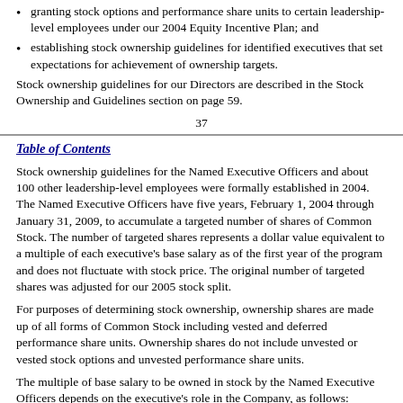granting stock options and performance share units to certain leadership-level employees under our 2004 Equity Incentive Plan; and
establishing stock ownership guidelines for identified executives that set expectations for achievement of ownership targets.
Stock ownership guidelines for our Directors are described in the Stock Ownership and Guidelines section on page 59.
37
Table of Contents
Stock ownership guidelines for the Named Executive Officers and about 100 other leadership-level employees were formally established in 2004. The Named Executive Officers have five years, February 1, 2004 through January 31, 2009, to accumulate a targeted number of shares of Common Stock. The number of targeted shares represents a dollar value equivalent to a multiple of each executive's base salary as of the first year of the program and does not fluctuate with stock price. The original number of targeted shares was adjusted for our 2005 stock split.
For purposes of determining stock ownership, ownership shares are made up of all forms of Common Stock including vested and deferred performance share units. Ownership shares do not include unvested or vested stock options and unvested performance share units.
The multiple of base salary to be owned in stock by the Named Executive Officers depends on the executive's role in the Company, as follows: